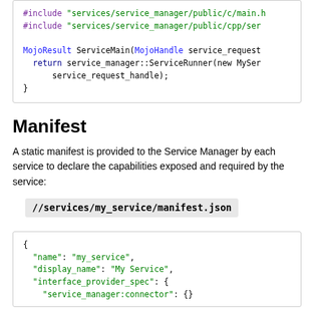[Figure (screenshot): Code block showing C++ includes and MojoResult ServiceMain function returning service_manager::ServiceRunner]
Manifest
A static manifest is provided to the Service Manager by each service to declare the capabilities exposed and required by the service:
//services/my_service/manifest.json
[Figure (screenshot): JSON code block showing manifest with name, display_name, and interface_provider_spec fields]